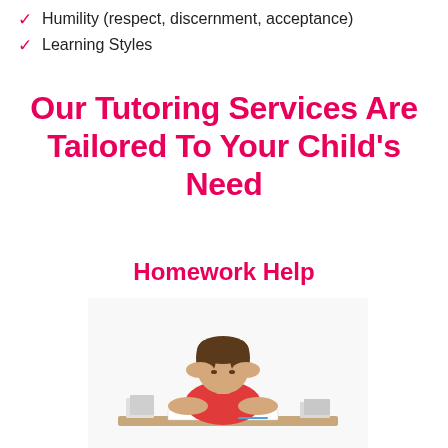Humility (respect, discernment, acceptance)
Learning Styles
Our Tutoring Services Are Tailored To Your Child's Need
Homework Help
[Figure (photo): Child in red shirt sitting at a desk with books, head in hands, appearing stressed or frustrated with homework]